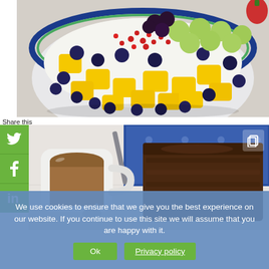[Figure (photo): Close-up photo of a decorative blue bowl filled with mixed fruits: yellow mango chunks, blueberries, green grapes, blackberries, and pomegranate seeds on a white background.]
Share this
[Figure (infographic): Green Twitter bird icon share button]
[Figure (infographic): Green Facebook 'f' icon share button]
[Figure (infographic): Green LinkedIn 'in' icon share button]
[Figure (photo): Photo of a white mug of coffee/tea with a spoon and a slice of dark chocolate cake or brownie on a plate, with a blue patterned cloth in the background.]
We use cookies to ensure that we give you the best experience on our website. If you continue to use this site we will assume that you are happy with it.
Ok
Privacy policy